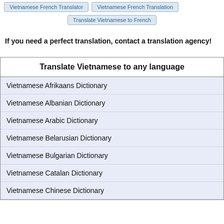Vietnamese French Translator
Vietnamese French Translation
Translate Vietnamese to French
If you need a perfect translation, contact a translation agency!
Translate Vietnamese to any language
Vietnamese Afrikaans Dictionary
Vietnamese Albanian Dictionary
Vietnamese Arabic Dictionary
Vietnamese Belarusian Dictionary
Vietnamese Bulgarian Dictionary
Vietnamese Catalan Dictionary
Vietnamese Chinese Dictionary